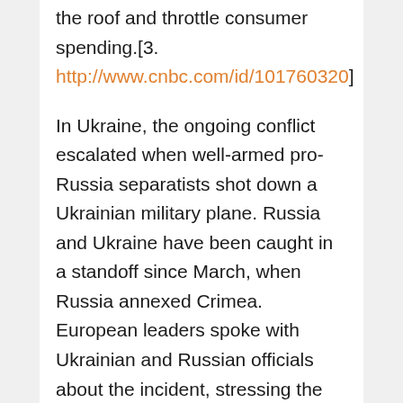the roof and throttle consumer spending.[3. http://www.cnbc.com/id/101760320]
In Ukraine, the ongoing conflict escalated when well-armed pro-Russia separatists shot down a Ukrainian military plane. Russia and Ukraine have been caught in a standoff since March, when Russia annexed Crimea. European leaders spoke with Ukrainian and Russian officials about the incident, stressing the need for a cease-fire in eastern Ukraine and a return to stability. [4.